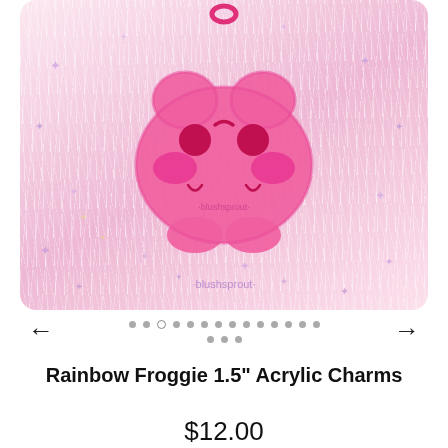[Figure (photo): A pink acrylic frog charm keychain pendant lying on white fluffy fur fabric with iridescent star confetti scattered around. The charm is pink with cute kawaii frog face features — red dot eyes, pink cheeks, small curved mouth lines. A pink lobster clasp or jump ring is visible at the top. The brand watermark 'blushsprout' appears on the charm and at the bottom of the image.]
Rainbow Froggie 1.5" Acrylic Charms
$12.00